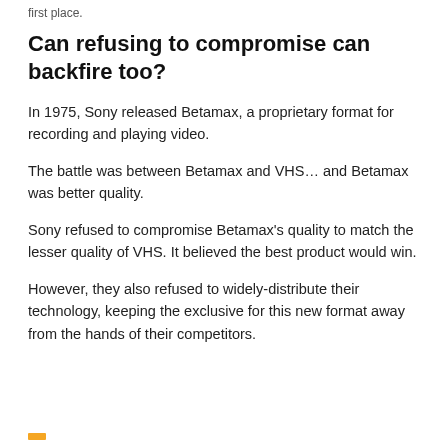first place.
Can refusing to compromise can backfire too?
In 1975, Sony released Betamax, a proprietary format for recording and playing video.
The battle was between Betamax and VHS… and Betamax was better quality.
Sony refused to compromise Betamax's quality to match the lesser quality of VHS. It believed the best product would win.
However, they also refused to widely-distribute their technology, keeping the exclusive for this new format away from the hands of their competitors.